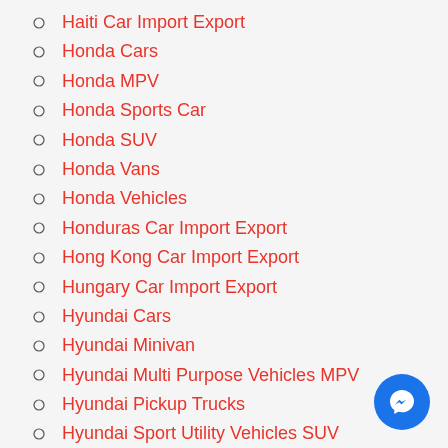Haiti Car Import Export
Honda Cars
Honda MPV
Honda Sports Car
Honda SUV
Honda Vans
Honda Vehicles
Honduras Car Import Export
Hong Kong Car Import Export
Hungary Car Import Export
Hyundai Cars
Hyundai Minivan
Hyundai Multi Purpose Vehicles MPV
Hyundai Pickup Trucks
Hyundai Sport Utility Vehicles SUV
Hyundai Vehicles